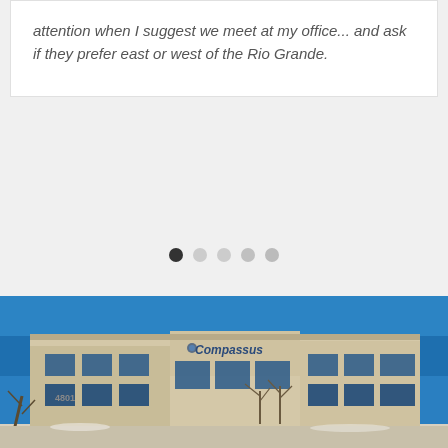attention when I suggest we meet at my office... and ask if they prefer east or west of the Rio Grande.
[Figure (other): Carousel navigation dots — 5 dots, first one dark/selected, rest light grey]
[Figure (photo): Exterior photograph of a Compassus office building, tan/beige multi-story building with blue sky, address number 4801 visible]